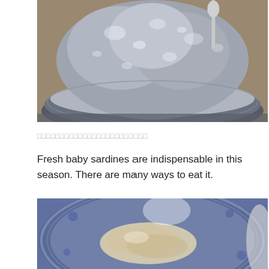[Figure (photo): Close-up photo of fresh baby sardines (shirasu) in a sieve/colander, glistening and wet, with a spoon visible at the top right.]
□□□□□□□□□□□□□□□□□□□□□□□□
Fresh baby sardines are indispensable in this season. There are many ways to eat it.
[Figure (photo): Close-up photo of a dish served on a blue and white patterned plate, showing what appears to be cooked baby sardines or similar seafood dish.]